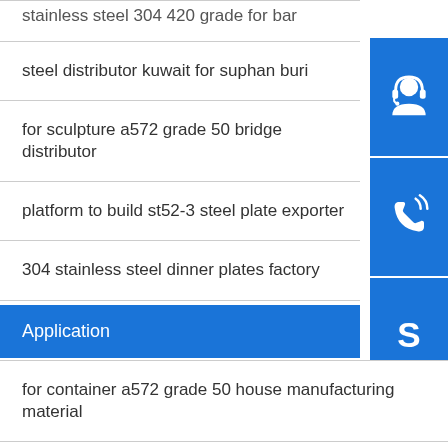stainless steel 304 420 grade for bar
steel distributor kuwait for suphan buri
for sculpture a572 grade 50 bridge distributor
platform to build st52-3 steel plate exporter
304 stainless steel dinner plates factory
best lr aq63 price
Application
for container a572 grade 50 house manufacturing material
prime quality steel square bar price prime steel